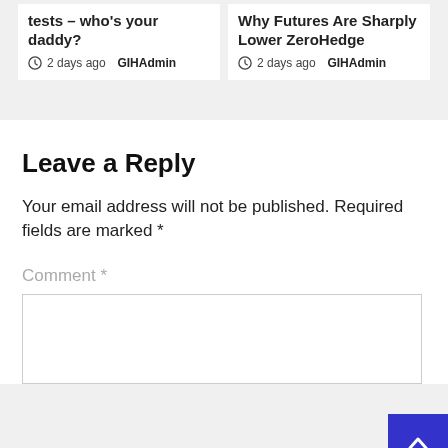tests – who's your daddy?
2 days ago  GIHAdmin
Why Futures Are Sharply Lower ZeroHedge
2 days ago  GIHAdmin
Leave a Reply
Your email address will not be published. Required fields are marked *
Comment *